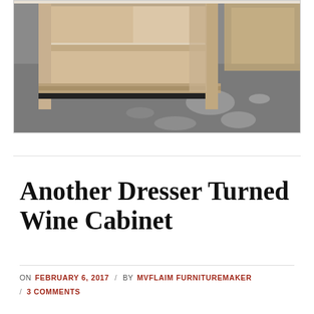[Figure (photo): Photograph of a wooden cabinet/dresser in progress, showing open shelving with light-colored wood, viewed from a low angle on a concrete workshop floor with paint splatters.]
Another Dresser Turned Wine Cabinet
ON FEBRUARY 6, 2017 / BY MVFLAIM FURNITUREMAKER / 3 COMMENTS